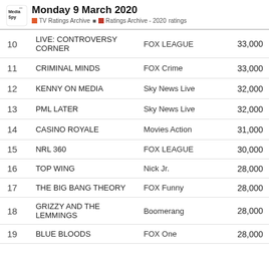Monday 9 March 2020 | TV Ratings Archive | Ratings Archive - 2020 | ratings
| # | Show | Channel | Viewers |
| --- | --- | --- | --- |
| 10 | LIVE: CONTROVERSY CORNER | FOX LEAGUE | 33,000 |
| 11 | CRIMINAL MINDS | FOX Crime | 33,000 |
| 12 | KENNY ON MEDIA | Sky News Live | 32,000 |
| 13 | PML LATER | Sky News Live | 32,000 |
| 14 | CASINO ROYALE | Movies Action | 31,000 |
| 15 | NRL 360 | FOX LEAGUE | 30,000 |
| 16 | TOP WING | Nick Jr. | 28,000 |
| 17 | THE BIG BANG THEORY | FOX Funny | 28,000 |
| 18 | GRIZZY AND THE LEMMINGS | Boomerang | 28,000 |
| 19 | BLUE BLOODS | FOX One | 28,000 |